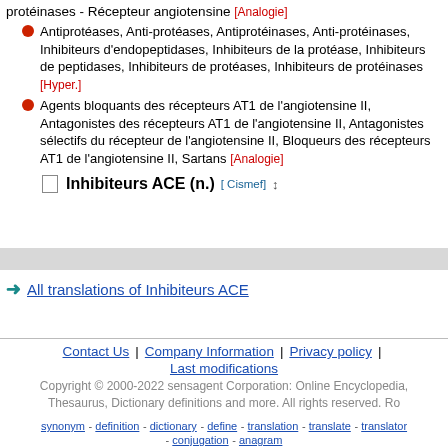protéinases - Récepteur angiotensine [Analogie]
Antiprotéases, Anti-protéases, Antiprotéinases, Anti-protéinases, Inhibiteurs d'endopeptidases, Inhibiteurs de la protéase, Inhibiteurs de peptidases, Inhibiteurs de protéases, Inhibiteurs de protéinases [Hyper.]
Agents bloquants des récepteurs AT1 de l'angiotensine II, Antagonistes des récepteurs AT1 de l'angiotensine II, Antagonistes sélectifs du récepteur de l'angiotensine II, Bloqueurs des récepteurs AT1 de l'angiotensine II, Sartans [Analogie]
Inhibiteurs ACE (n.) [Cismef] ‡
All translations of Inhibiteurs ACE
Contact Us | Company Information | Privacy policy | Last modifications
Copyright © 2000-2022 sensagent Corporation: Online Encyclopedia, Thesaurus, Dictionary definitions and more. All rights reserved. Ro
synonym - definition - dictionary - define - translation - translate - translator - conjugation - anagram